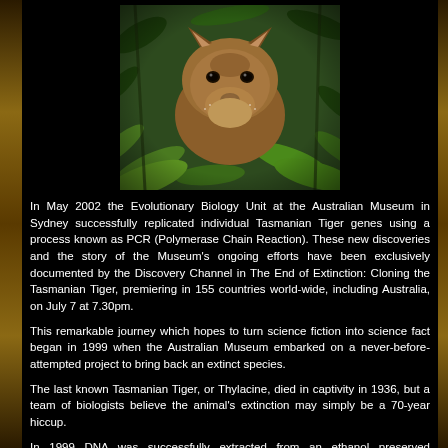[Figure (photo): Close-up photograph of a Tasmanian Tiger (Thylacine) among green foliage, showing its brown fur and distinctive facial features]
In May 2002 the Evolutionary Biology Unit at the Australian Museum in Sydney successfully replicated individual Tasmanian Tiger genes using a process known as PCR (Polymerase Chain Reaction). These new discoveries and the story of the Museum's ongoing efforts have been exclusively documented by the Discovery Channel in The End of Extinction: Cloning the Tasmanian Tiger, premiering in 155 countries world-wide, including Australia, on July 7 at 7.30pm.
This remarkable journey which hopes to turn science fiction into science fact began in 1999 when the Australian Museum embarked on a never-before-attempted project to bring back an extinct species.
The last known Tasmanian Tiger, or Thylacine, died in captivity in 1936, but a team of biologists believe the animal's extinction may simply be a 70-year hiccup.
In 1999 DNA was successfully extracted from an ethanol preserved Tasmanian Tiger pup sample. Additional DNA has been extracted from two other individual pups in 2001. These